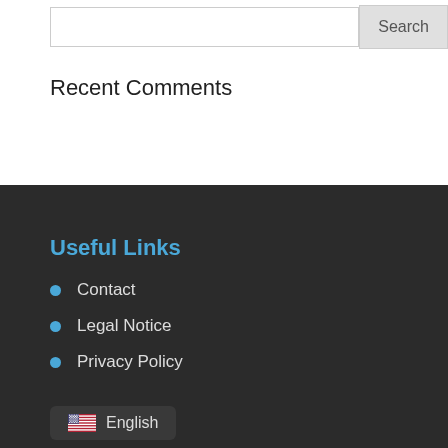Recent Comments
Useful Links
Contact
Legal Notice
Privacy Policy
English